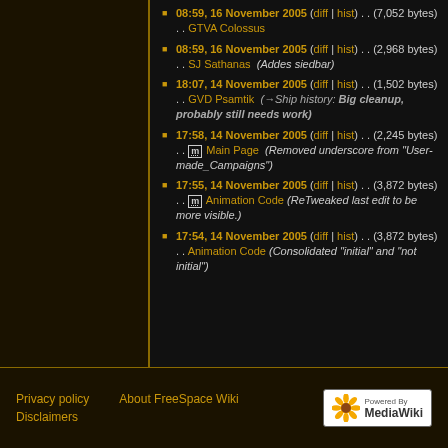08:59, 16 November 2005 (diff | hist) . . (7,052 bytes) . . GTVA Colossus
08:59, 16 November 2005 (diff | hist) . . (2,968 bytes) . . SJ Sathanas (Addes siedbar)
18:07, 14 November 2005 (diff | hist) . . (1,502 bytes) . . GVD Psamtik (→Ship history: Big cleanup, probably still needs work)
17:58, 14 November 2005 (diff | hist) . . (2,245 bytes) . . m Main Page (Removed underscore from "User-made_Campaigns")
17:55, 14 November 2005 (diff | hist) . . (3,872 bytes) . . m Animation Code (ReTweaked last edit to be more visible.)
17:54, 14 November 2005 (diff | hist) . . (3,872 bytes) . . Animation Code (Consolidated "initial" and "not initial")
Privacy policy  About FreeSpace Wiki  Disclaimers  Powered by MediaWiki